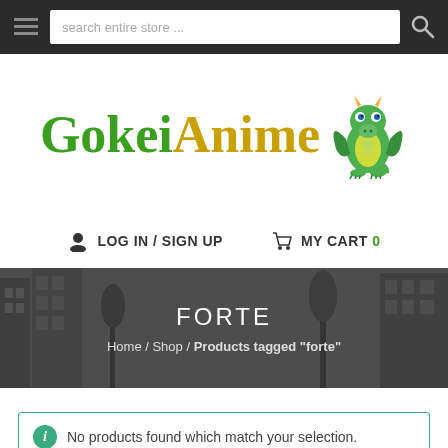search entire store ...
[Figure (logo): GokeiAnime logo with green dragon mascot. 'Gokei' in dark green serif font, 'Anime' in gold/yellow serif font, with a cartoon green dragon on the right.]
LOG IN / SIGN UP   MY CART 0
FORTE
Home / Shop / Products tagged "forte"
No products found which match your selection.